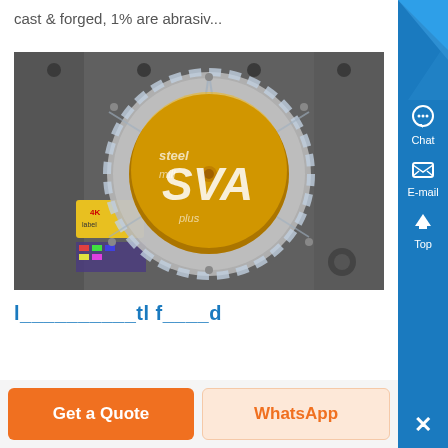cast & forged, 1% are abrasiv...
[Figure (photo): Industrial grinding wheel or circular abrasive disc with orange/yellow center marked 'SVA', mounted in machinery, shown in greyscale background with colorful disc detail]
...
Get a Quote
WhatsApp